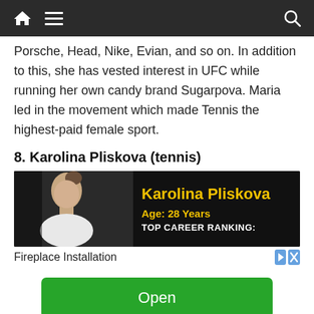Navigation bar with home, menu, and search icons
Porsche, Head, Nike, Evian, and so on. In addition to this, she has vested interest in UFC while running her own candy brand Sugarpova. Maria led in the movement which made Tennis the highest-paid female sport.
8. Karolina Pliskova (tennis)
[Figure (infographic): Card image showing Karolina Pliskova with her name in yellow, Age: 28 Years, and TOP CAREER RANKING: text on a dark background]
Fireplace Installation
Open
Ad